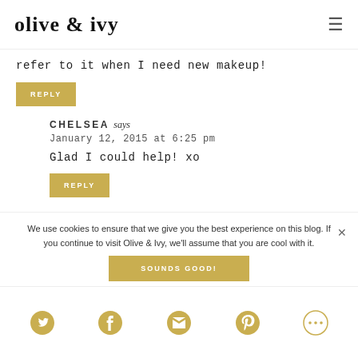olive & ivy
refer to it when I need new makeup!
REPLY
CHELSEA says
January 12, 2015 at 6:25 pm
Glad I could help! xo
REPLY
We use cookies to ensure that we give you the best experience on this blog. If you continue to visit Olive & Ivy, we'll assume that you are cool with it.
SOUNDS GOOD!